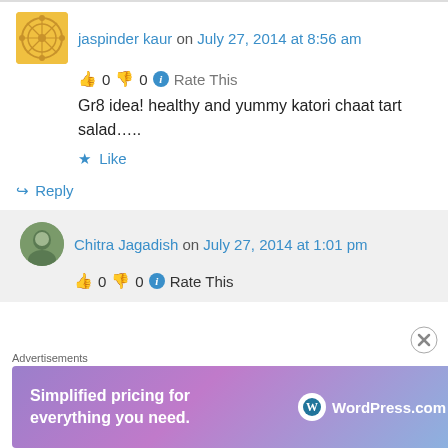jaspinder kaur on July 27, 2014 at 8:56 am
👍 0 👎 0 ℹ Rate This
Gr8 idea! healthy and yummy katori chaat tart salad…..
★ Like
↪ Reply
Chitra Jagadish on July 27, 2014 at 1:01 pm
👍 0 👎 0 ℹ Rate This
Advertisements
[Figure (illustration): WordPress.com advertisement banner: Simplified pricing for everything you need.]